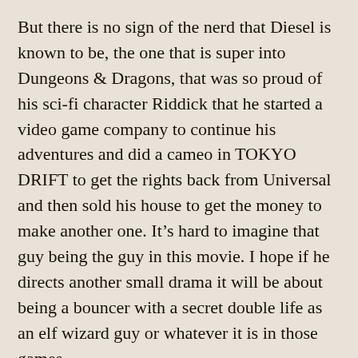But there is no sign of the nerd that Diesel is known to be, the one that is super into Dungeons & Dragons, that was so proud of his sci-fi character Riddick that he started a video game company to continue his adventures and did a cameo in TOKYO DRIFT to get the rights back from Universal and then sold his house to get the money to make another one. It’s hard to imagine that guy being the guy in this movie. I hope if he directs another small drama it will be about being a bouncer with a secret double life as an elf wizard guy or whatever it is in those games.
I cannot really recommend STRAYS as a movie, but as a piece to the puzzle of Vin Diesel it was worth my time. And I think as time goes on that will be an important puzzle to solve.